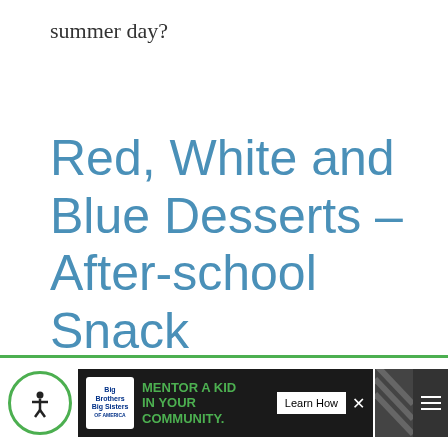summer day?
Red, White and Blue Desserts – After-school Snack
These easy red, white and blue desserts are also perfect for an after-school snack. They're
This website tracks your activities. If you continue browsing the site, you're giving us cons... your activity.
[Figure (screenshot): Social share sidebar with heart icon showing 200 count and share button]
[Figure (screenshot): What's Next panel showing Scavenger Hunt Printab...]
[Figure (screenshot): Bottom advertisement bar with Big Brothers Big Sisters logo, MENTOR A KID IN YOUR COMMUNITY text, and Learn How button]